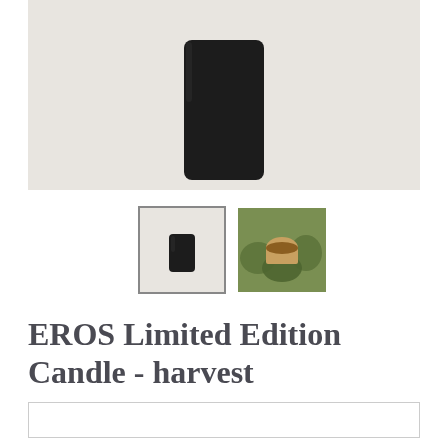[Figure (photo): Main product photo showing a black cylindrical candle on a light beige/grey background]
[Figure (photo): Thumbnail 1: small black candle on light background, selected with grey border]
[Figure (photo): Thumbnail 2: candle jar with copper lid surrounded by greenery/botanical elements]
EROS Limited Edition Candle - harvest
[Figure (other): Bottom input/text box outline, partially visible at the bottom of the page]